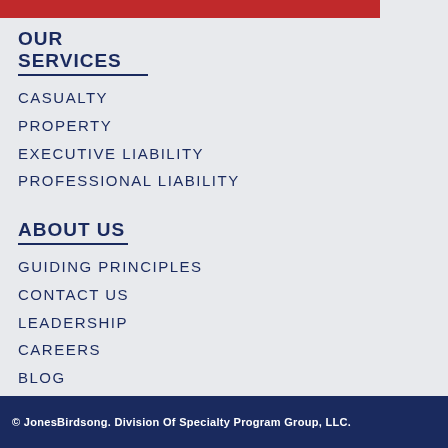OUR SERVICES
CASUALTY
PROPERTY
EXECUTIVE LIABILITY
PROFESSIONAL LIABILITY
ABOUT US
GUIDING PRINCIPLES
CONTACT US
LEADERSHIP
CAREERS
BLOG
© JonesBirdsong. Division Of Specialty Program Group, LLC.